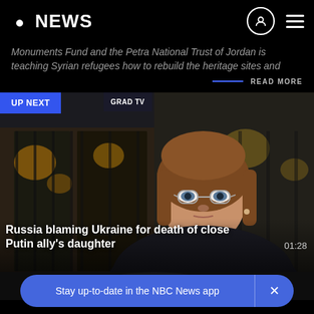NBC NEWS
Monuments Fund and the Petra National Trust of Jordan is teaching Syrian refugees how to rebuild the heritage sites and
READ MORE
[Figure (screenshot): Video thumbnail of a woman with glasses and brown hair, with 'UP NEXT' badge and 'GRAD TV' watermark, showing video player interface]
Russia blaming Ukraine for death of close Putin ally's daughter
01:28
Stay up-to-date in the NBC News app